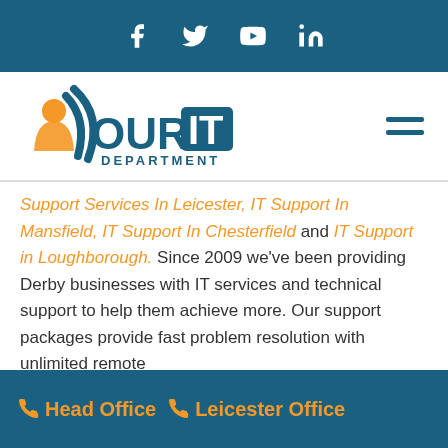[Figure (other): Top navigation bar with social media icons: Facebook, Twitter, YouTube, LinkedIn on teal background]
[Figure (logo): Your IT Department logo with orange figure and teal text, hamburger menu icon on the right]
Support Services In Leicester, IT Support In Mansfield, IT Support In Chesterfield and IT Support in Loughborough. Since 2009 we've been providing Derby businesses with IT services and technical support to help them achieve more. Our support packages provide fast problem resolution with unlimited remote
Head Office  Leicester Office